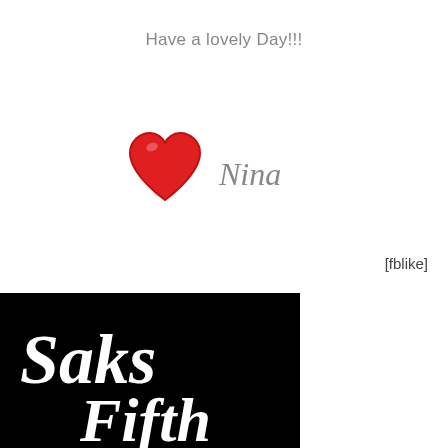Have a lovely Day!!!
[Figure (illustration): A red cartoon heart illustration with the handwritten signature 'Nina' in gray script text to the right]
[fblike]
[Figure (logo): Saks Fifth Avenue logo in white cursive script on a black background]